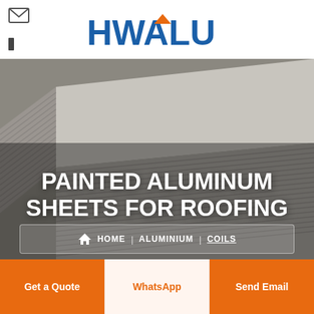[Figure (logo): HWALU company logo in bold dark blue text with an orange house/triangle symbol above the A]
[Figure (photo): Close-up of stacked painted aluminum sheets viewed from the corner, showing the layered edges in gray tones]
PAINTED ALUMINUM SHEETS FOR ROOFING
HOME | ALUMINIUM | COILS
Get a Quote
WhatsApp
Send Email